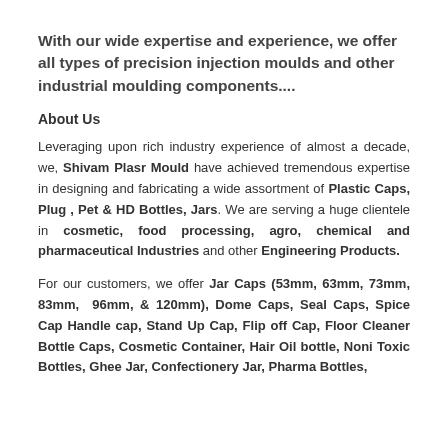With our wide expertise and experience, we offer all types of precision injection moulds and other industrial moulding components....
About Us
Leveraging upon rich industry experience of almost a decade, we, Shivam Plasr Mould have achieved tremendous expertise in designing and fabricating a wide assortment of Plastic Caps, Plug , Pet & HD Bottles, Jars. We are serving a huge clientele in cosmetic, food processing, agro, chemical and pharmaceutical Industries and other Engineering Products.
For our customers, we offer Jar Caps (53mm, 63mm, 73mm, 83mm, 96mm, & 120mm), Dome Caps, Seal Caps, Spice Cap Handle cap, Stand Up Cap, Flip off Cap, Floor Cleaner Bottle Caps, Cosmetic Container, Hair Oil bottle, Noni Toxic Bottles, Ghee Jar, Confectionery Jar, Pharma Bottles,